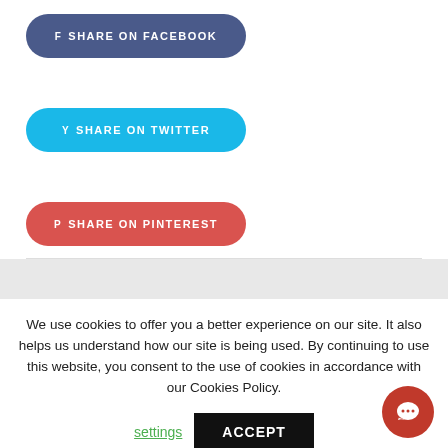f SHARE ON FACEBOOK
y SHARE ON TWITTER
p SHARE ON PINTEREST
We use cookies to offer you a better experience on our site. It also helps us understand how our site is being used. By continuing to use this website, you consent to the use of cookies in accordance with our Cookies Policy.
settings
ACCEPT